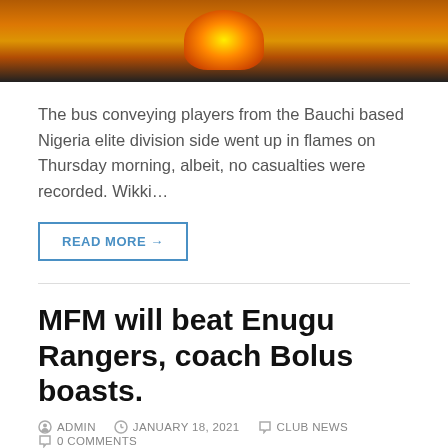[Figure (photo): Burning bus at night with orange flames visible, dark background]
The bus conveying players from the Bauchi based Nigeria elite division side went up in flames on Thursday morning, albeit, no casualties were recorded. Wikki…
READ MORE →
MFM will beat Enugu Rangers, coach Bolus boasts.
ADMIN   JANUARY 18, 2021   CLUB NEWS   0 COMMENTS
[Figure (logo): MFM FC football club logo — purple and white crest with circular emblem, purple stripes on sides, text MFM FC at bottom]